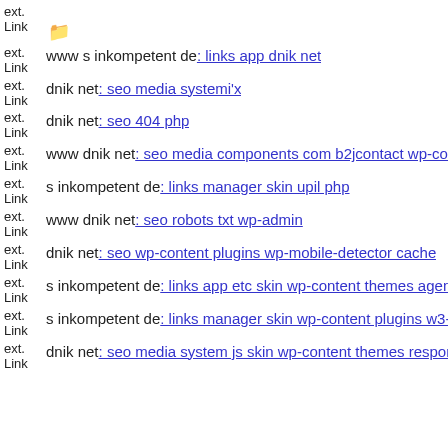ext. Link [folder icon]
ext. Link www s inkompetent de: links app dnik net
ext. Link dnik net: seo media systemi'x
ext. Link dnik net: seo 404 php
ext. Link www dnik net: seo media components com b2jcontact wp-cont
ext. Link s inkompetent de: links manager skin upil php
ext. Link www dnik net: seo robots txt wp-admin
ext. Link dnik net: seo wp-content plugins wp-mobile-detector cache
ext. Link s inkompetent de: links app etc skin wp-content themes agency
ext. Link s inkompetent de: links manager skin wp-content plugins w3-to
ext. Link dnik net: seo media system js skin wp-content themes responz